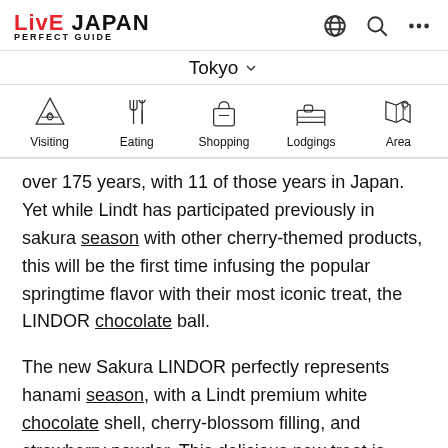LIVE JAPAN PERFECT GUIDE — Tokyo navigation header with Visiting, Eating, Shopping, Lodgings, Area categories
over 175 years, with 11 of those years in Japan. Yet while Lindt has participated previously in sakura season with other cherry-themed products, this will be the first time infusing the popular springtime flavor with their most iconic treat, the LINDOR chocolate ball.
The new Sakura LINDOR perfectly represents hanami season, with a Lindt premium white chocolate shell, cherry-blossom filling, and strawberry powder. This delicious new treat is available for purchase in several forms, including special gift boxes, gift bags, and 'Pick & Mix' items, which are available at eight locations, with